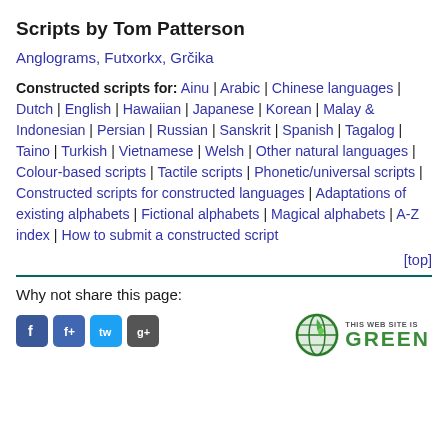Scripts by Tom Patterson
Anglograms, Futxorkx, Grčika
Constructed scripts for: Ainu | Arabic | Chinese languages | Dutch | English | Hawaiian | Japanese | Korean | Malay & Indonesian | Persian | Russian | Sanskrit | Spanish | Tagalog | Taino | Turkish | Vietnamese | Welsh | Other natural languages | Colour-based scripts | Tactile scripts | Phonetic/universal scripts | Constructed scripts for constructed languages | Adaptations of existing alphabets | Fictional alphabets | Magical alphabets | A-Z index | How to submit a constructed script
[top]
Why not share this page:
[Figure (logo): THIS WEB SITE IS GREEN badge with globe and leaf icon]